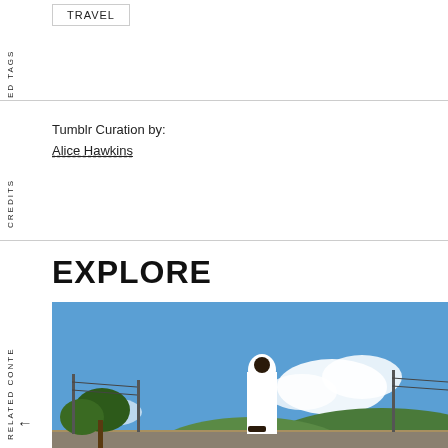ED TAGS
TRAVEL
CREDITS
Tumblr Curation by:
Alice Hawkins
RELATED CONTENT
EXPLORE
[Figure (photo): Person dressed in white standing outdoors under a blue sky with power lines, trees, and hills in the background]